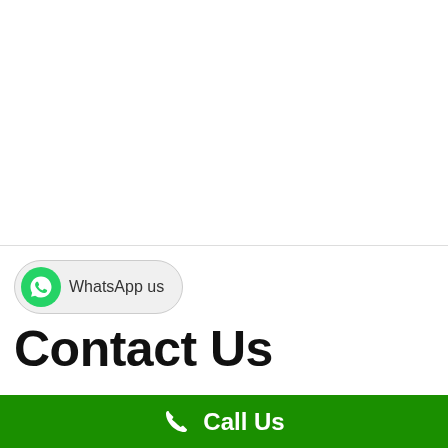[Figure (other): WhatsApp us button with green WhatsApp logo icon on the left and text 'WhatsApp us' on a light gray rounded pill-shaped button]
Contact Us
[Figure (other): Green Call Us bar at the bottom with a white phone handset icon and white bold text 'Call Us']